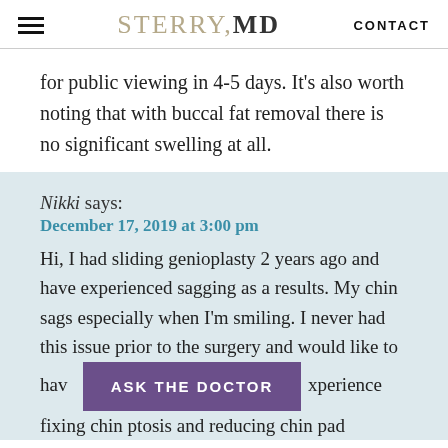STERRY,MD  CONTACT
for public viewing in 4-5 days. It's also worth noting that with buccal fat removal there is no significant swelling at all.
Nikki says:
December 17, 2019 at 3:00 pm
Hi, I had sliding genioplasty 2 years ago and have experienced sagging as a results. My chin sags especially when I'm smiling. I never had this issue prior to the surgery and would like to have [experience] fixing chin ptosis and reducing chin pad